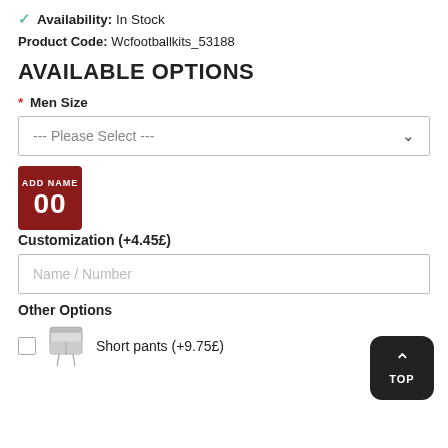Availability: In Stock
Product Code: Wcfootballkits_53188
AVAILABLE OPTIONS
* Men Size
--- Please Select ---
[Figure (illustration): Red badge with 'ADD NAME' text and '00' number, used for jersey customization add-on]
Customization (+4.45£)
Name / Number
Other Options
Short pants (+9.75£)